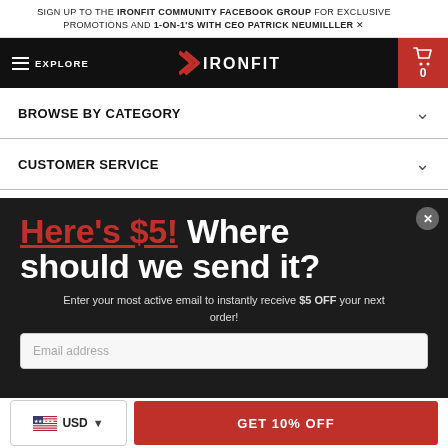SIGN UP TO THE IRONFIT COMMUNITY FACEBOOK GROUP FOR EXCLUSIVE PROMOTIONS AND 1-ON-1'S WITH CEO PATRICK NEUMILLLER
[Figure (screenshot): IronFit website navigation bar with hamburger menu, EXPLORE label, IronFit logo, and red cart icon with 0 items]
BROWSE BY CATEGORY
CUSTOMER SERVICE
WANNA JOIN US?
Here's $5! Where should we send it?
Enter your most active email to instantly receive $5 OFF your next order!
Email address
GET 10% OFF
USD